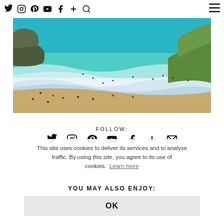Social media navigation icons: Twitter, Instagram, Pinterest, YouTube, Facebook, Plus, Search, Hamburger menu
[Figure (photo): Aerial view of a sandy beach cove with turquoise ocean waves and many people swimming and sunbathing, green cliffs on the right]
FOLLOW:
[Figure (infographic): Row of social media follow icons: Twitter, Instagram, Pinterest, YouTube, Facebook, Plus, Email]
This site uses cookies to deliver its services and to analyse traffic. By using this site, you agree to its use of cookies. Learn more
YOU MAY ALSO ENJOY:
OK